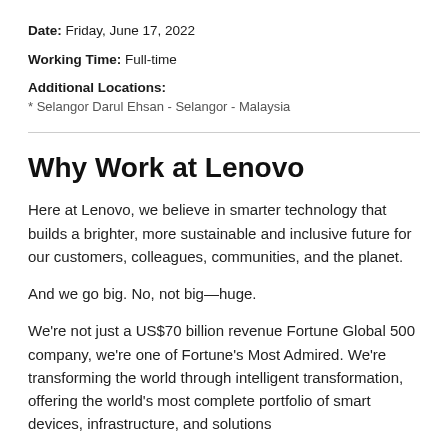Date: Friday, June 17, 2022
Working Time: Full-time
Additional Locations:
* Selangor Darul Ehsan - Selangor - Malaysia
Why Work at Lenovo
Here at Lenovo, we believe in smarter technology that builds a brighter, more sustainable and inclusive future for our customers, colleagues, communities, and the planet.
And we go big. No, not big—huge.
We're not just a US$70 billion revenue Fortune Global 500 company, we're one of Fortune's Most Admired. We're transforming the world through intelligent transformation, offering the world's most complete portfolio of smart devices, infrastructure, and solutions